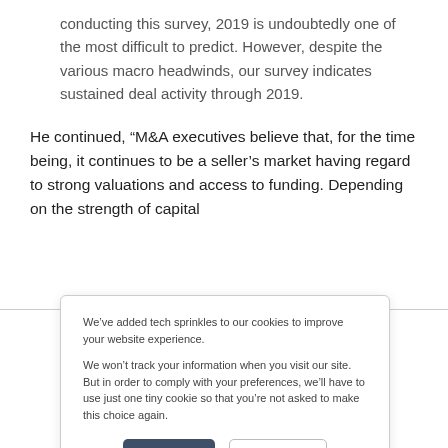conducting this survey, 2019 is undoubtedly one of the most difficult to predict. However, despite the various macro headwinds, our survey indicates sustained deal activity through 2019.
He continued, “M&A executives believe that, for the time being, it continues to be a seller’s market having regard to strong valuations and access to funding. Depending on the strength of capital
We’ve added tech sprinkles to our cookies to improve your website experience.
We won’t track your information when you visit our site. But in order to comply with your preferences, we’ll have to use just one tiny cookie so that you’re not asked to make this choice again.